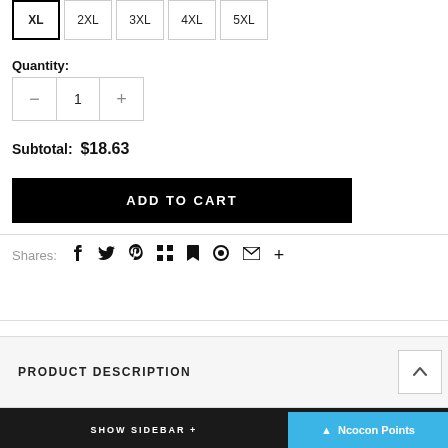XL  2XL  3XL  4XL  5XL
Quantity:
1
Subtotal:  $18.63
ADD TO CART
Shares:
PRODUCT DESCRIPTION
SHIPPING & RETURNS
SHOW SIDEBAR +
Ncocon Points